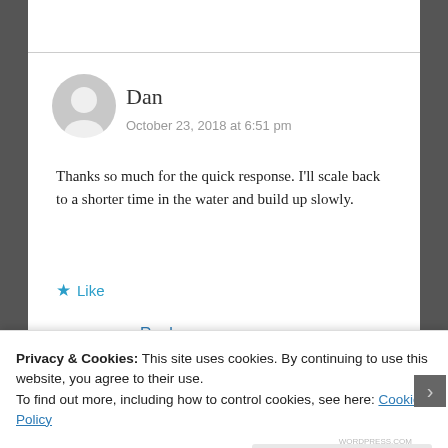Dan
October 23, 2018 at 6:51 pm
Thanks so much for the quick response. I'll scale back to a shorter time in the water and build up slowly.
★ Like
Reply
Privacy & Cookies: This site uses cookies. By continuing to use this website, you agree to their use.
To find out more, including how to control cookies, see here: Cookie Policy
Close and accept